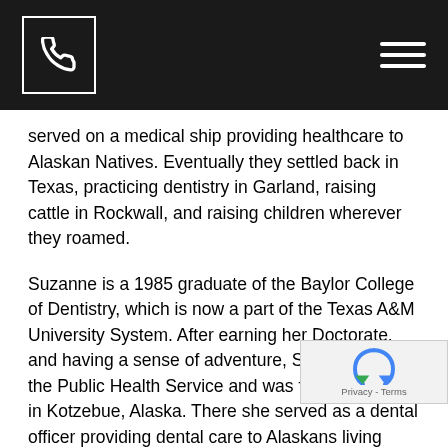[Navigation bar with phone icon and hamburger menu]
served on a medical ship providing healthcare to Alaskan Natives. Eventually they settled back in Texas, practicing dentistry in Garland, raising cattle in Rockwall, and raising children wherever they roamed.
Suzanne is a 1985 graduate of the Baylor College of Dentistry, which is now a part of the Texas A&M University System. After earning her Doctorate, and having a sense of adventure, Suzanne joined the Public Health Service and was first stationed in Kotzebue, Alaska. There she served as a dental officer providing dental care to Alaskans living above the Arctic Circle. Following other assignments in New Mexico and Oklahoma, she and her husband made the full circle back home to Rockwall where it all began.
Suzanne and her husband Kevin have had the plea... raise their children in the Rockwall community, with their